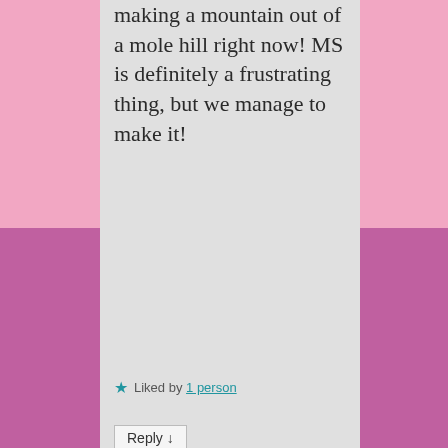making a mountain out of a mole hill right now! MS is definitely a frustrating thing, but we manage to make it!
★ Liked by 1 person
Reply ↓
tinytearstoni on August 21, 2018 at 9:37 pm said: